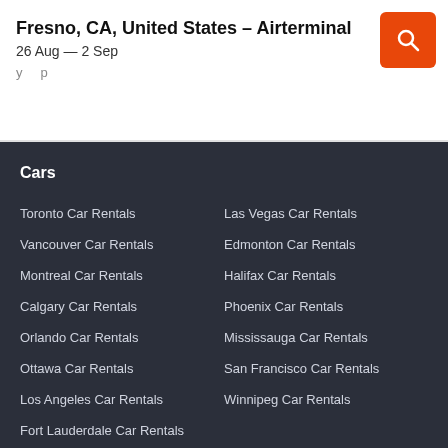Fresno, CA, United States – Airterminal
26 Aug — 2 Sep
Cars
Toronto Car Rentals
Las Vegas Car Rentals
Vancouver Car Rentals
Edmonton Car Rentals
Montreal Car Rentals
Halifax Car Rentals
Calgary Car Rentals
Phoenix Car Rentals
Orlando Car Rentals
Mississauga Car Rentals
Ottawa Car Rentals
San Francisco Car Rentals
Los Angeles Car Rentals
Winnipeg Car Rentals
Fort Lauderdale Car Rentals